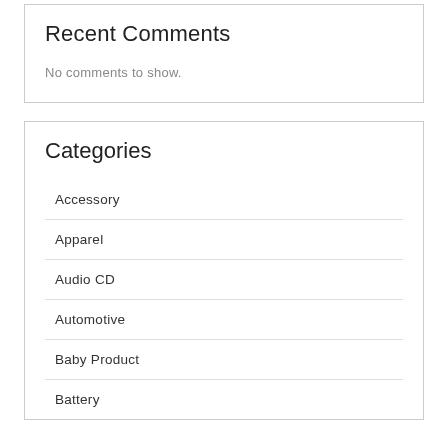Recent Comments
No comments to show.
Categories
Accessory
Apparel
Audio CD
Automotive
Baby Product
Battery